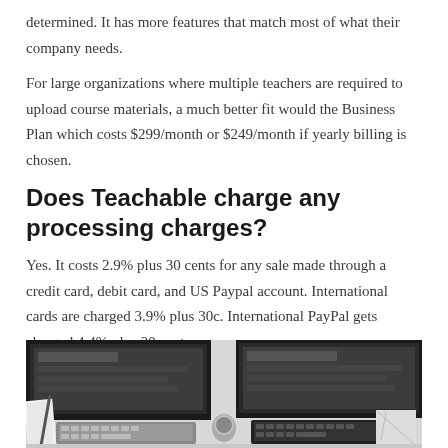determined. It has more features that match most of what their company needs.
For large organizations where multiple teachers are required to upload course materials, a much better fit would the Business Plan which costs $299/month or $249/month if yearly billing is chosen.
Does Teachable charge any processing charges?
Yes. It costs 2.9% plus 30 cents for any sale made through a credit card, debit card, and US Paypal account. International cards are charged 3.9% plus 30c. International PayPal gets charged 4.4% plus 30 cents.
[Figure (photo): Black and white overhead/top-down view of a desk workspace with two monitors, keyboards, papers, and office items.]